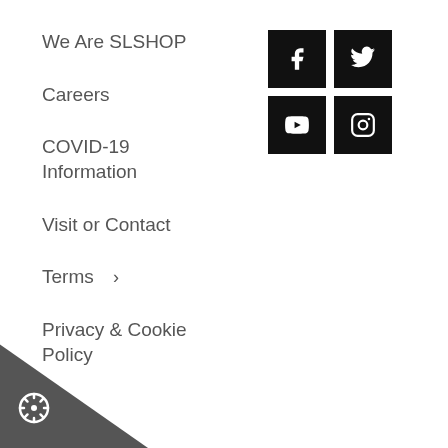We Are SLSHOP
[Figure (infographic): Social media icons: Facebook, Twitter, YouTube, Instagram — white icons on black square backgrounds]
Careers
COVID-19 Information
Visit or Contact
Terms  >
Privacy & Cookie Policy
[Figure (illustration): Dark grey triangle in bottom-left corner with a white cookie/settings gear icon]